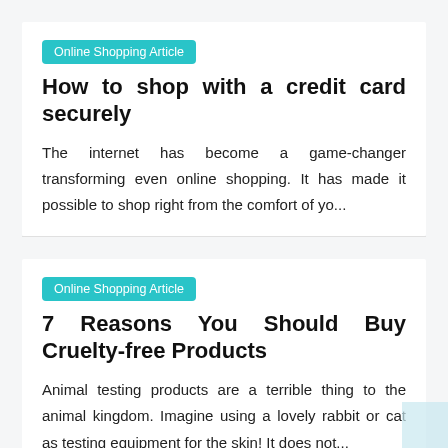Online Shopping Article
How to shop with a credit card securely
The internet has become a game-changer transforming even online shopping. It has made it possible to shop right from the comfort of yo...
Online Shopping Article
7 Reasons You Should Buy Cruelty-free Products
Animal testing products are a terrible thing to the animal kingdom. Imagine using a lovely rabbit or cat as testing equipment for the skin! It does not...